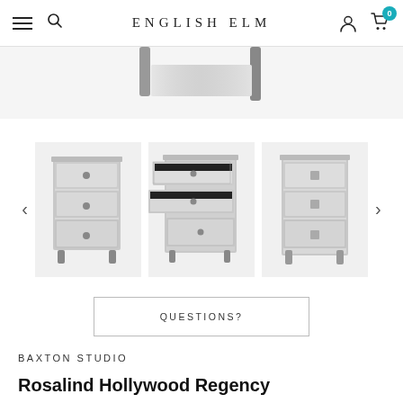ENGLISH ELM
[Figure (photo): Partial view of a mirrored/silver furniture piece (nightstand) from above, showing dark legs against white background]
[Figure (photo): Three thumbnail images of a mirrored silver 3-drawer nightstand: left shows closed drawers, center shows open drawers, right shows front view of closed nightstand]
QUESTIONS?
BAXTON STUDIO
Rosalind Hollywood Regency